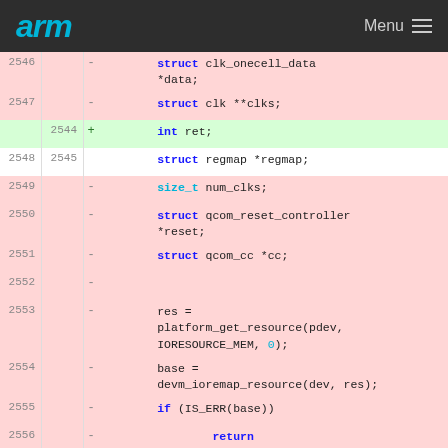arm  Menu
Code diff showing lines 2546-2558 with one added line at 2544
| old_ln | new_ln | sign | code |
| --- | --- | --- | --- |
| 2546 |  | - |         struct clk_onecell_data *data; |
| 2547 |  | - |         struct clk **clks; |
|  | 2544 | + |         int ret; |
| 2548 | 2545 |  |         struct regmap *regmap; |
| 2549 |  | - |         size_t num_clks; |
| 2550 |  | - |         struct qcom_reset_controller *reset; |
| 2551 |  | - |         struct qcom_cc *cc; |
| 2552 |  | - |  |
| 2553 |  | - |         res = platform_get_resource(pdev, IORESOURCE_MEM, 0); |
| 2554 |  | - |         base = devm_ioremap_resource(dev, res); |
| 2555 |  | - |         if (IS_ERR(base)) |
| 2556 |  | - |                 return PTR_ERR(base); |
| 2557 |  | - |  |
| 2558 |  | - |         regmap = |